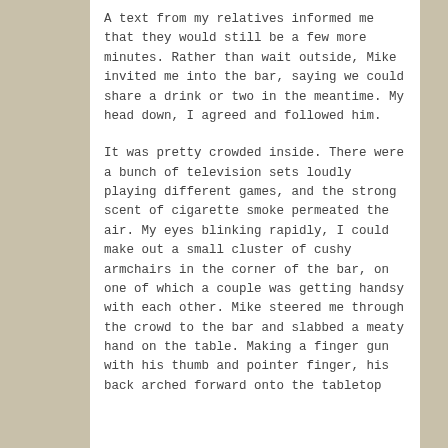A text from my relatives informed me that they would still be a few more minutes. Rather than wait outside, Mike invited me into the bar, saying we could share a drink or two in the meantime. My head down, I agreed and followed him.
It was pretty crowded inside. There were a bunch of television sets loudly playing different games, and the strong scent of cigarette smoke permeated the air. My eyes blinking rapidly, I could make out a small cluster of cushy armchairs in the corner of the bar, on one of which a couple was getting handsy with each other. Mike steered me through the crowd to the bar and slabbed a meaty hand on the table. Making a finger gun with his thumb and pointer finger, his back arched forward onto the tabletop